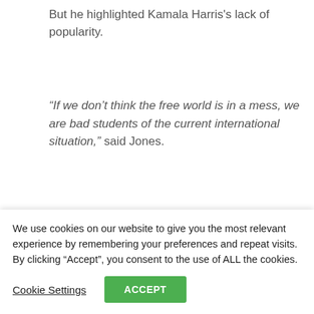But he highlighted Kamala Harris's lack of popularity.
“If we don’t think the free world is in a mess, we are bad students of the current international situation,” said Jones.
[Figure (screenshot): Sky News Australia YouTube video thumbnail titled 'The ‘leader of the free world’ is...' showing a person's face with a red shape overlay and the Sky News .com.au logo.]
We use cookies on our website to give you the most relevant experience by remembering your preferences and repeat visits. By clicking “Accept”, you consent to the use of ALL the cookies.
Cookie Settings
ACCEPT